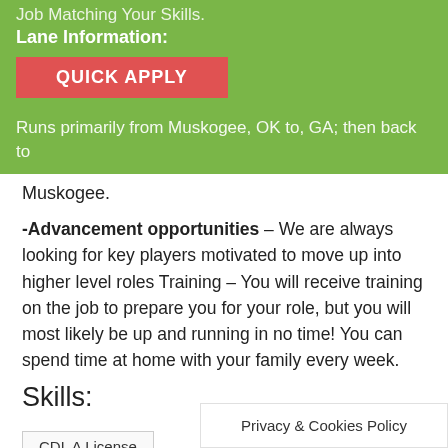Job Matching Your Skills.
Lane Information:
[Figure (other): QUICK APPLY button in red]
Runs primarily from Muskogee, OK to, GA; then back to Muskogee.
-Advancement opportunities – We are always looking for key players motivated to move up into higher level roles Training – You will receive training on the job to prepare you for your role, but you will most likely be up and running in no time! You can spend time at home with your family every week.
Skills:
CDL A License
Privacy & Cookies Policy